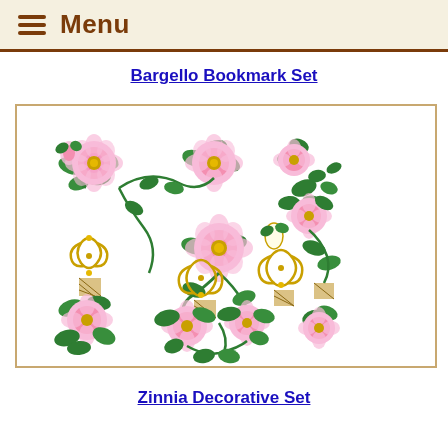Menu
Bargello Bookmark Set
[Figure (illustration): Floral embroidery design showing multiple pink roses with green leaves and gold decorative knot motifs arranged in a rectangular bookmark pattern, displayed as separate bookmark segments.]
Zinnia Decorative Set